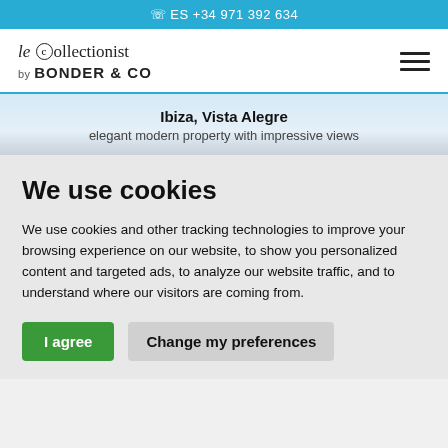ES +34 971 392 634
[Figure (logo): le collectionist by BONDER & CO logo with hamburger menu icon]
Ibiza, Vista Alegre
elegant modern property with impressive views
We use cookies
We use cookies and other tracking technologies to improve your browsing experience on our website, to show you personalized content and targeted ads, to analyze our website traffic, and to understand where our visitors are coming from.
I agree | Change my preferences